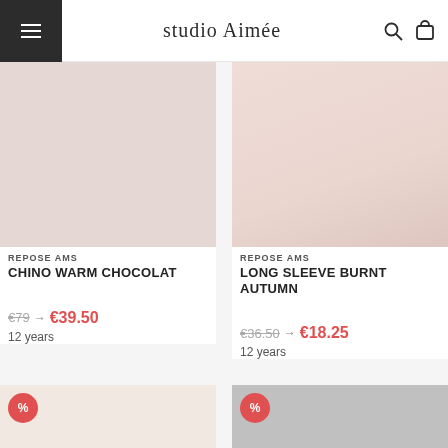studio Aimée
[Figure (photo): Product image - beige/pink fabric, CHINO WARM CHOCOLAT]
REPOSE AMS
CHINO WARM CHOCOLAT
€79 → €39.50
12 years
[Figure (photo): Product image - light pink fabric, LONG SLEEVE BURNT AUTUMN]
REPOSE AMS
LONG SLEEVE BURNT AUTUMN
€36.50 → €18.25
12 years
[Figure (photo): Product image - cream color with % discount badge]
[Figure (photo): Product image - silver/grey color with % discount badge]